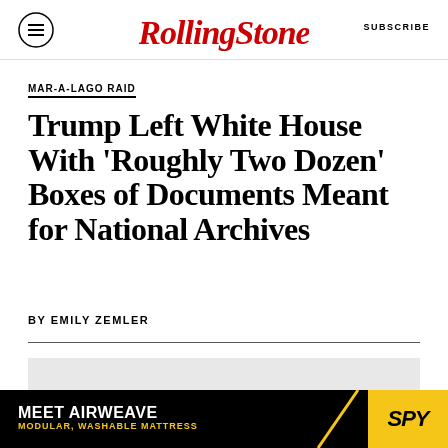Rolling Stone — SUBSCRIBE
MAR-A-LAGO RAID
Trump Left White House With 'Roughly Two Dozen' Boxes of Documents Meant for National Archives
BY EMILY ZEMLER
[Figure (photo): Gray placeholder image area below article header]
[Figure (infographic): Advertisement banner: MEET AIRWEAVE — MODULAR, WASHABLE MATTRESS with SPY logo on yellow background]